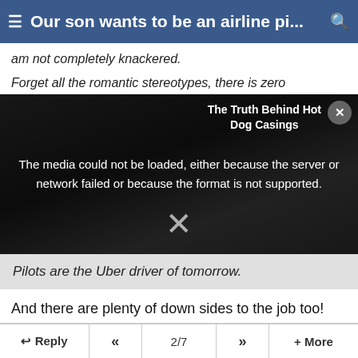Our son wants to be an airline pi...
am not completely knackered.
Forget all the romantic stereotypes, there is zero
[Figure (screenshot): Video player with error overlay. Text reads: 'The media could not be loaded, either because the server or network failed or because the format is not supported.' Ad overlay in top right reads 'The Truth Behind Hot Dog Casings'. Large X close button visible.]
Pilots are the Uber driver of tomorrow.
And there are plenty of down sides to the job too!
Reply button
#25 (permalink)
Reply  «  2/7  »  + More